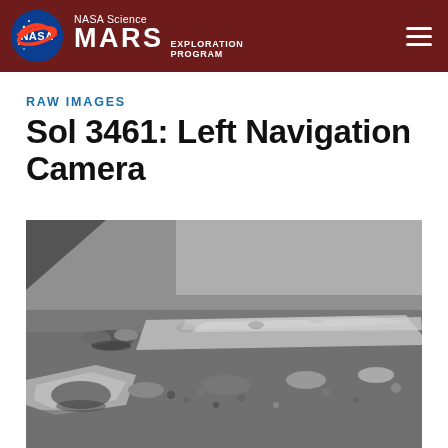NASA Science MARS EXPLORATION PROGRAM
RAW IMAGES
Sol 3461: Left Navigation Camera
[Figure (photo): Black and white raw navigation camera image from Mars Curiosity rover (Sol 3461) showing rocky Martian terrain with flat rock slabs, scattered smaller rocks and pebbles on a dusty surface, with a shadow visible in the upper left corner.]